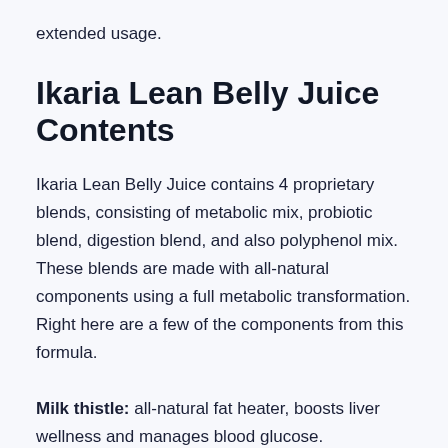extended usage.
Ikaria Lean Belly Juice Contents
Ikaria Lean Belly Juice contains 4 proprietary blends, consisting of metabolic mix, probiotic blend, digestion blend, and also polyphenol mix. These blends are made with all-natural components using a full metabolic transformation. Right here are a few of the components from this formula.
Milk thistle: all-natural fat heater, boosts liver wellness and manages blood glucose.